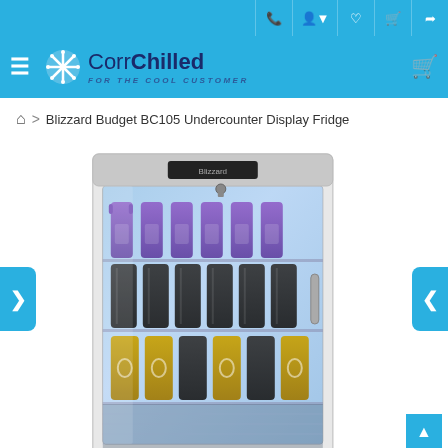CorrChilled - For the cool customer
Blizzard Budget BC105 Undercounter Display Fridge
[Figure (photo): Photo of a Blizzard Budget BC105 undercounter display fridge with glass door, white body, showing shelves stocked with purple water bottles on top shelf, dark cans on middle shelf, and yellow/dark cans on lower shelf, with blue LED interior lighting.]